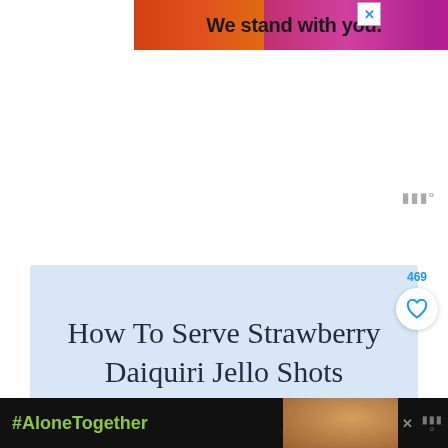[Figure (illustration): Advertisement banner with colorful gradient background (orange-red to magenta) with bold text 'We stand with you.' and a close (X) button in top right corner]
[Figure (illustration): Small grey widget/logo mark in lower right of white space area]
How To Serve Strawberry Daiquiri Jello Shots
[Figure (illustration): Save/heart button with count 469 overlaid on right edge of content card]
[Figure (illustration): Bottom black advertisement bar with #AloneTogether text in green on dark background and a photo of people on right side with close X button]